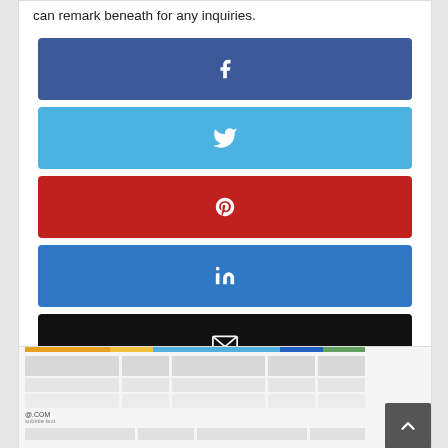can remark beneath for any inquiries.
[Figure (infographic): Six social media share buttons stacked vertically: Facebook (dark blue), Twitter (light blue), Pinterest (red), LinkedIn (blue), Email (black), WhatsApp (green), each with their respective icon centered.]
[Figure (screenshot): A partial screenshot of a webpage showing a table/spreadsheet interface with colored header bar, gray rows, a small label at bottom left, and a back-to-top arrow button at bottom right.]